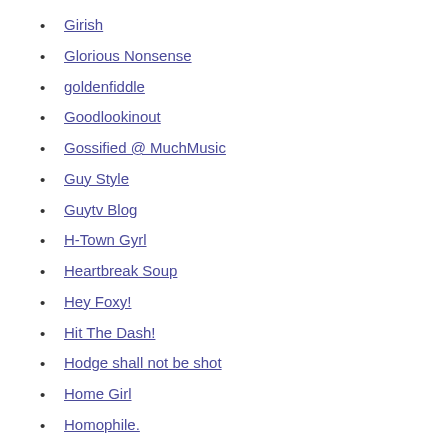Girish
Glorious Nonsense
goldenfiddle
Goodlookinout
Gossified @ MuchMusic
Guy Style
Guytv Blog
H-Town Gyrl
Heartbreak Soup
Hey Foxy!
Hit The Dash!
Hodge shall not be shot
Home Girl
Homophile.
Humanizing the Vacuum
I am screaming and punching myself
I CAN HAS CHEEZBURGER?